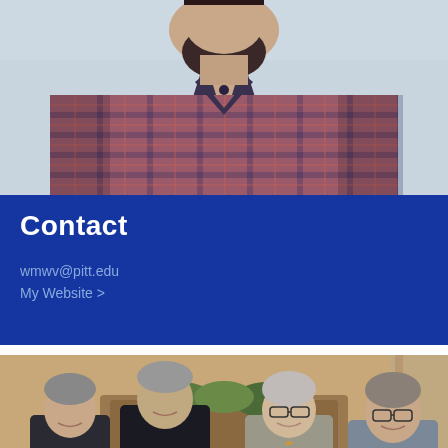[Figure (photo): Headshot photo of a man with a beard wearing a red/navy checkered shirt, upper body visible against a light background]
Contact
wmwv@pitt.edu
My Website >
[Figure (photo): Group photo of four people standing together: three men and one woman, one holding a framed certificate/award. Background shows an ornate fireplace. Formal occasion.]